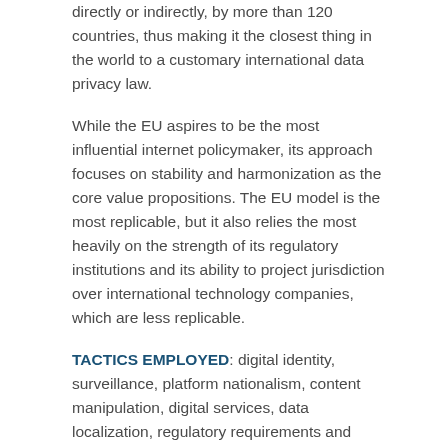directly or indirectly, by more than 120 countries, thus making it the closest thing in the world to a customary international data privacy law.
While the EU aspires to be the most influential internet policymaker, its approach focuses on stability and harmonization as the core value propositions. The EU model is the most replicable, but it also relies the most heavily on the strength of its regulatory institutions and its ability to project jurisdiction over international technology companies, which are less replicable.
TACTICS EMPLOYED: digital identity, surveillance, platform nationalism, content manipulation, digital services, data localization, regulatory requirements and financial incentives.
INDIA
As the world's largest democracy, India has an approach to internet governance that blends free and open...